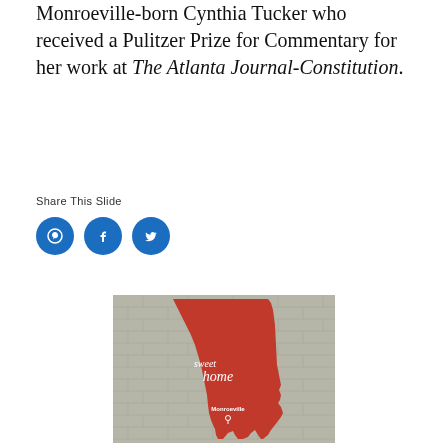Monroeville-born Cynthia Tucker who received a Pulitzer Prize for Commentary for her work at The Atlanta Journal-Constitution.
Share This Slide
[Figure (illustration): Three social media icon circles (Pinterest, Facebook, Twitter) in blue]
[Figure (photo): Photo of a mural on a brick wall showing the outline of the state of Alabama painted red with the text 'sweet home' in white script lettering and 'Monroeville' with a location pin marker below]